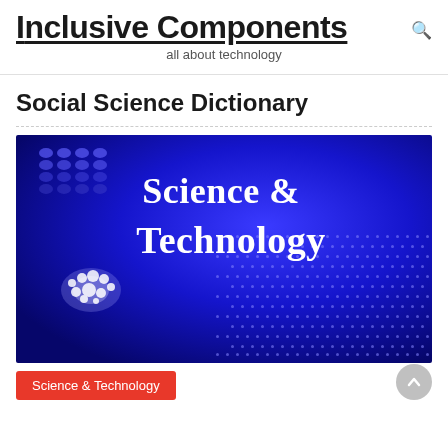Inclusive Components
all about technology
Social Science Dictionary
[Figure (illustration): A blue-toned banner image with glowing tech/science imagery (molecular structures, circuit board dots, digital globe) and white serif text reading 'Science & Technology' prominently in the center.]
Science & Technology